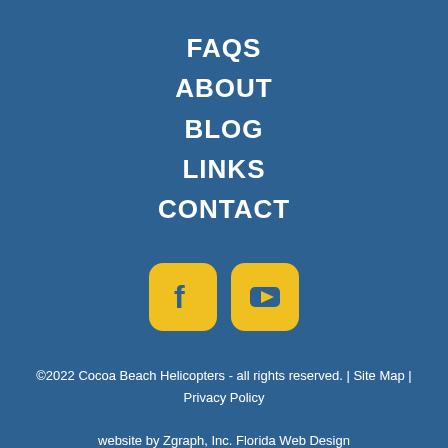FAQS
ABOUT
BLOG
LINKS
CONTACT
[Figure (logo): Facebook and YouTube social media icons in yellow rounded square buttons]
©2022 Cocoa Beach Helicopters - all rights reserved. | Site Map | Privacy Policy
website by Zgraph, Inc. Florida Web Design